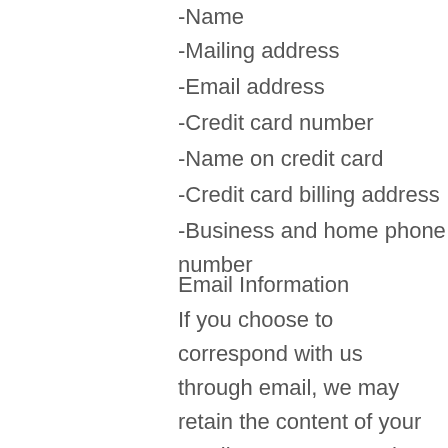-Name
-Mailing address
-Email address
-Credit card number
-Name on credit card
-Credit card billing address
-Business and home phone number
Email Information
If you choose to correspond with us through email, we may retain the content of your email messages together with your email address and our responses. We provide the same protections for these electronic communications that we employ in the maintenance of information received by